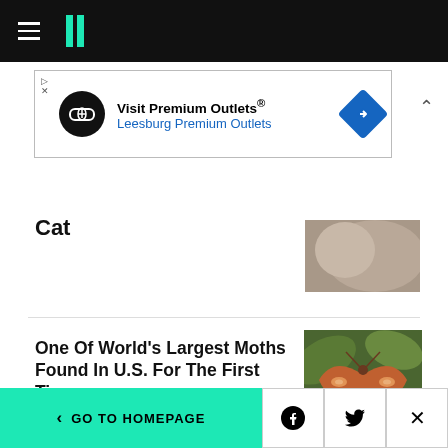HuffPost navigation header with hamburger menu and logo
[Figure (screenshot): Advertisement banner for Visit Premium Outlets® / Leesburg Premium Outlets with logo and blue diamond direction sign]
Cat
[Figure (photo): Partial thumbnail of an animal, likely a cat]
One Of World's Largest Moths Found In U.S. For The First Time
[Figure (photo): Large moth with brown and orange wings spread open, photographed against green foliage background — Atlas moth]
Misogynist Influencer
[Figure (screenshot): Smartphone screen showing WhatsApp logo]
< GO TO HOMEPAGE | Facebook share | Twitter share | Close